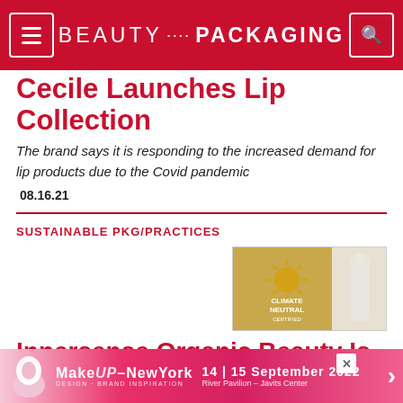BEAUTY PACKAGING
Cecile Launches Lip Collection
The brand says it is responding to the increased demand for lip products due to the Covid pandemic
08.16.21
SUSTAINABLE PKG/PRACTICES
[Figure (photo): Climate Neutral certified product image with golden sunburst logo and white product bottle]
Innersense Organic Beauty Is
[Figure (photo): MakeUp – NewYork advertisement banner: 14 | 15 September 2022, River Pavilion – Javits Center]